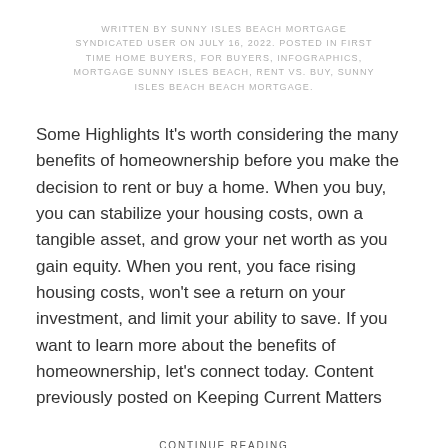WRITTEN BY SUNNY ISLES BEACH MORTGAGE SYNDICATED USER ON JULY 16, 2022. POSTED IN FIRST TIME HOME BUYERS, FOR BUYERS, INFOGRAPHICS, MORTGAGE SUNNY ISLES BEACH, RENT VS. BUY, SUNNY ISLES BEACH BEACH MORTGAGE.
Some Highlights It's worth considering the many benefits of homeownership before you make the decision to rent or buy a home. When you buy, you can stabilize your housing costs, own a tangible asset, and grow your net worth as you gain equity. When you rent, you face rising housing costs, won't see a return on your investment, and limit your ability to save. If you want to learn more about the benefits of homeownership, let's connect today. Content previously posted on Keeping Current Matters
CONTINUE READING